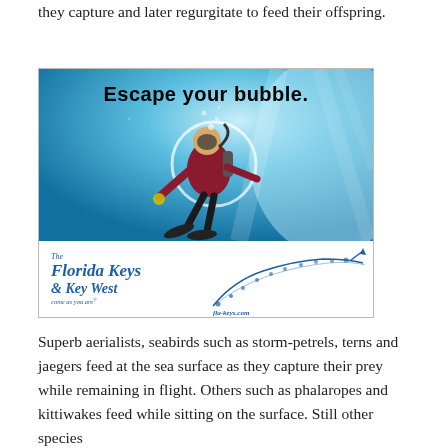they capture and later regurgitate to feed their offspring.
[Figure (photo): Advertisement for The Florida Keys & Key West showing an underwater photo of a scuba diver with the text 'Escape your bubble.' and the Florida Keys & Key West logo with a map of the keys.]
Superb aerialists, seabirds such as storm-petrels, terns and jaegers feed at the sea surface as they capture their prey while remaining in flight. Others such as phalaropes and kittiwakes feed while sitting on the surface. Still other species